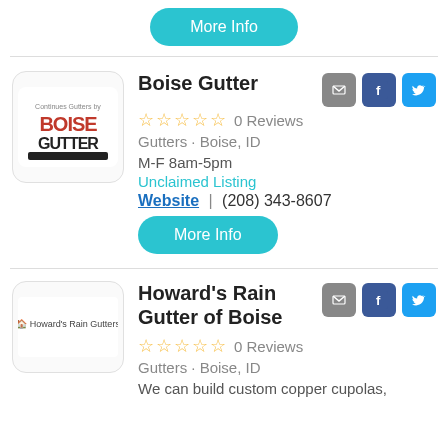[Figure (other): More Info button (teal/cyan rounded rectangle) at top of page]
Boise Gutter
[Figure (logo): Boise Gutter logo: red and black text on white rounded square]
0 Reviews
Gutters • Boise, ID
M-F 8am-5pm
Unclaimed Listing
Website | (208) 343-8607
[Figure (other): More Info button (teal/cyan rounded rectangle)]
Howard's Rain Gutter of Boise
[Figure (logo): Howard's Rain Gutters logo on white rounded square]
0 Reviews
Gutters • Boise, ID
We can build custom copper cupolas,